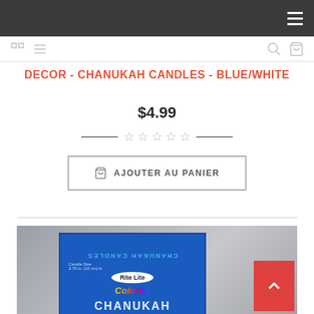Navigation bar with hamburger menu
DECOR - CHANUKAH CANDLES - BLUE/WHITE
$4.99
[Figure (other): Five empty star rating icons indicating no reviews]
AJOUTER AU PANIER
[Figure (photo): Product photo: blue box of Chanukah candles by Rite Lite, with Colorful Chanukah Candles label]